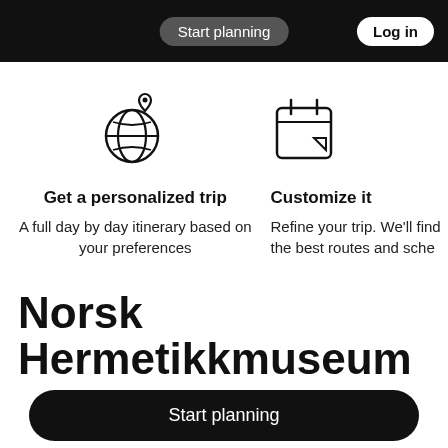Start planning  es & activities  Log in
[Figure (illustration): Globe with a location pin icon]
Get a personalized trip
A full day by day itinerary based on your preferences
[Figure (illustration): Calendar/schedule icon]
Customize it
Refine your trip. We'll find the best routes and sche...
Norsk Hermetikkmuseum
Start planning